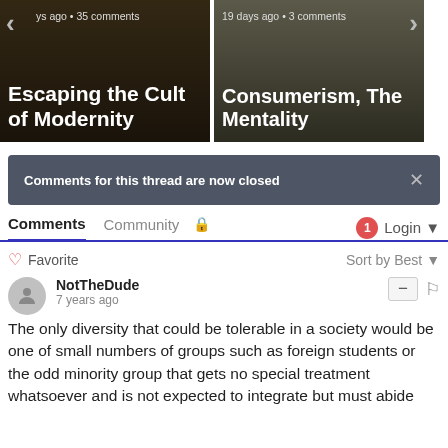[Figure (screenshot): Carousel card showing 'Escaping the Cult of Modernity' article thumbnail with dark overlay, navigation arrow, and metadata 'ys ago · 35 comments']
[Figure (screenshot): Carousel card showing 'Consumerism, The Mentality' article thumbnail with mountain background, navigation arrow, and metadata '19 days ago · 3 comments']
Comments for this thread are now closed
Comments  Community  Login
Favorite  Sort by Best
NotTheDude
7 years ago
The only diversity that could be tolerable in a society would be one of small numbers of groups such as foreign students or the odd minority group that gets no special treatment whatsoever and is not expected to integrate but must abide